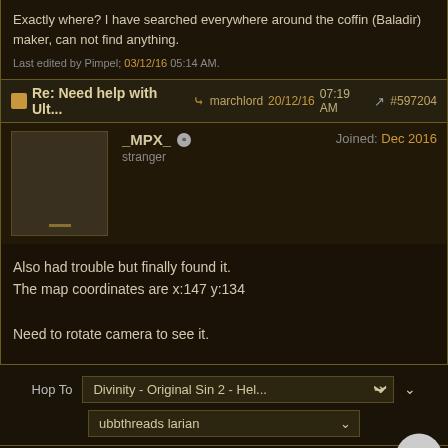Exactly where? I have searched everywhere around the coffin (Baladir) maker, can not find anything.
Last edited by Pimpel; 03/12/16 05:14 AM.
Re: Need help with Ult... → marchlord 20/12/16 07:19 AM #597204
_MPX_ stranger Joined: Dec 2016
Also had trouble but finally found it.
The map coordinates are x:147 y:134

Need to rotate camera to see it.
Hop To Divinity - Original Sin 2 - Hel...
ubbthreads larian
Forum Rules · Mark All Read
Contact Us · Forum Help · Larian Studios
Powered by UBB.threads™ PHP Forum Software 7.7.5